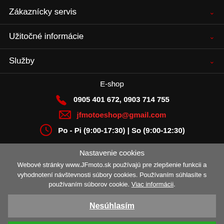Zákaznícky servis
Užitočné informácie
Služby
E-shop
0905 401 672, 0903 714 755
jfmotoeshop@gmail.com
Po - Pi (9:00-17:30) | So (9:00-12:30)
Nastavenie cookies
Webové stránky www.JFmoto.sk používajú pre zlepšenie funkcii a vyhodnotení návštevnosti súbory cookies. Používaním súhlasíte s používaním súborov cookie. Viac informácii.
Nesúhlasím
Súhlasím